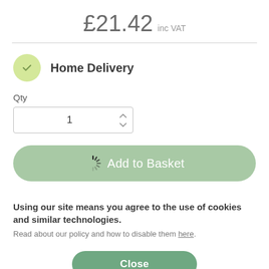£21.42 inc VAT
Home Delivery
Qty
[Figure (screenshot): Quantity input field showing value 1 with up/down arrows]
[Figure (screenshot): Add to Basket button with loading spinner overlay]
Using our site means you agree to the use of cookies and similar technologies. Read about our policy and how to disable them here.
Close